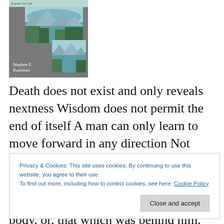[Figure (illustration): Book cover showing mountain lake scenes with author name Stephen F. Kaufman on grey background]
Death does not exist and only reveals nextness Wisdom does not permit the end of itself A man can only learn to move forward in any direction Not being concerned with what went before He should not care for the rewards of the day Seeking only that which can enhance his own
Privacy & Cookies: This site uses cookies. By continuing to use this website, you agree to their use.
To find out more, including how to control cookies, see here: Cookie Policy
body, or, that which was behind him, not caring to carry it